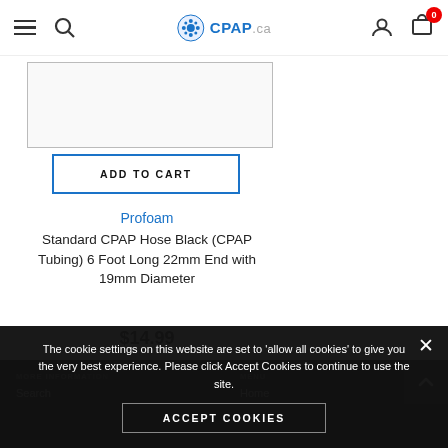CPAP.ca header navigation with hamburger menu, search, logo, user icon, and cart with 0 items
[Figure (other): Product image placeholder box, white with gray border]
ADD TO CART
Profoam
Standard CPAP Hose Black (CPAP Tubing) 6 Foot Long 22mm End with 19mm Diameter
$14.99
MORE INFORMATION | MENU | Search | Home
The cookie settings on this website are set to 'allow all cookies' to give you the very best experience. Please click Accept Cookies to continue to use the site.
ACCEPT COOKIES